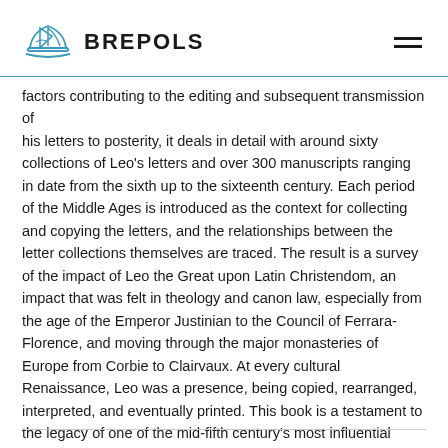BREPOLS
factors contributing to the editing and subsequent transmission of his letters to posterity, it deals in detail with around sixty collections of Leo's letters and over 300 manuscripts ranging in date from the sixth up to the sixteenth century. Each period of the Middle Ages is introduced as the context for collecting and copying the letters, and the relationships between the letter collections themselves are traced. The result is a survey of the impact of Leo the Great upon Latin Christendom, an impact that was felt in theology and canon law, especially from the age of the Emperor Justinian to the Council of Ferrara-Florence, and moving through the major monasteries of Europe from Corbie to Clairvaux. At every cultural Renaissance, Leo was a presence, being copied, rearranged, interpreted, and eventually printed. This book is a testament to the legacy of one of the mid-fifth century's most influential figures.